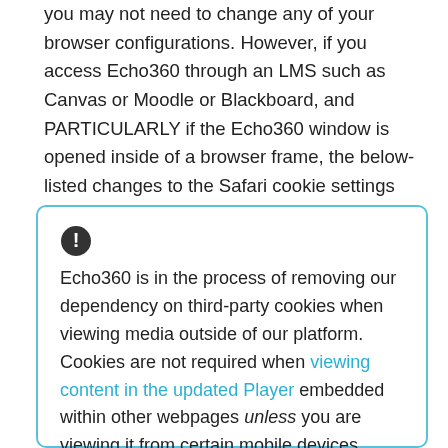you may not need to change any of your browser configurations. However, if you access Echo360 through an LMS such as Canvas or Moodle or Blackboard, and PARTICULARLY if the Echo360 window is opened inside of a browser frame, the below-listed changes to the Safari cookie settings may be necessary in order to view Echo360 class recordings and LIVE streams as provided.
Echo360 is in the process of removing our dependency on third-party cookies when viewing media outside of our platform. Cookies are not required when viewing content in the updated Player embedded within other webpages unless you are viewing it from certain mobile devices, especially those running iOS.

We recommend you continue to allow third-party cookies in your browser, as viewing content within Echo360 through an LMS/VLE (your...